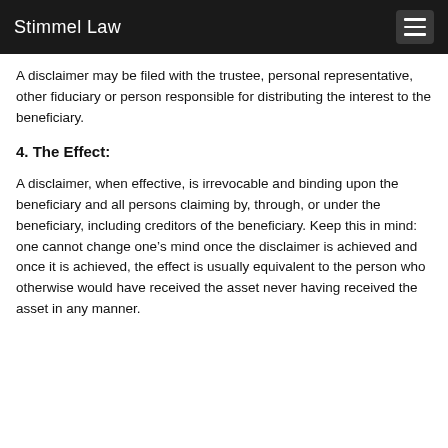Stimmel Law
A disclaimer may be filed with the trustee, personal representative, other fiduciary or person responsible for distributing the interest to the beneficiary.
4. The Effect:
A disclaimer, when effective, is irrevocable and binding upon the beneficiary and all persons claiming by, through, or under the beneficiary, including creditors of the beneficiary. Keep this in mind: one cannot change one’s mind once the disclaimer is achieved and once it is achieved, the effect is usually equivalent to the person who otherwise would have received the asset never having received the asset in any manner.